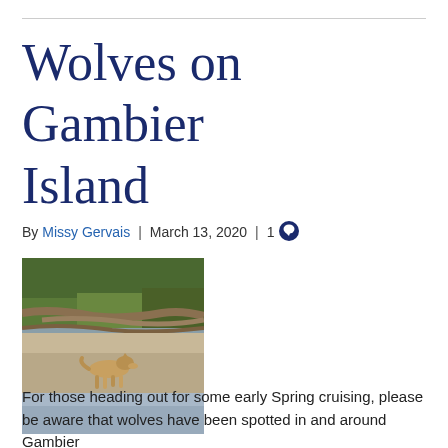Wolves on Gambier Island
By Missy Gervais | March 13, 2020 | 1 comment
[Figure (photo): A wolf walking on a beach shoreline with driftwood and vegetation in the background.]
For those heading out for some early Spring cruising, please be aware that wolves have been spotted in and around Gambier